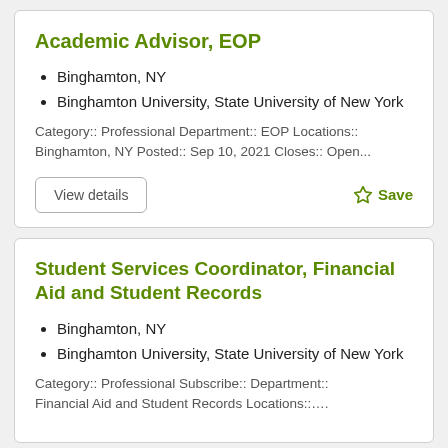Academic Advisor, EOP
Binghamton, NY
Binghamton University, State University of New York
Category:: Professional Department:: EOP Locations:: Binghamton, NY Posted:: Sep 10, 2021 Closes:: Open...
Student Services Coordinator, Financial Aid and Student Records
Binghamton, NY
Binghamton University, State University of New York
Category:: Professional Subscribe:: Department:: Financial Aid and Student Records Locations::....